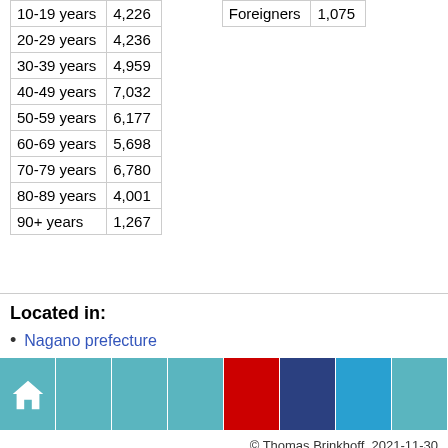| Age group | Count |
| --- | --- |
| 10-19 years | 4,226 |
| 20-29 years | 4,236 |
| 30-39 years | 4,959 |
| 40-49 years | 7,032 |
| 50-59 years | 6,177 |
| 60-69 years | 5,698 |
| 70-79 years | 6,780 |
| 80-89 years | 4,001 |
| 90+ years | 1,267 |
| Nationality | Count |
| --- | --- |
| Foreigners | 1,075 |
Located in:
Nagano prefecture
[Figure (other): Navigation bar with home icon and colored blocks (teal, red, dark blue, light blue)]
© Thomas Brinkhoff, 2021-11-30